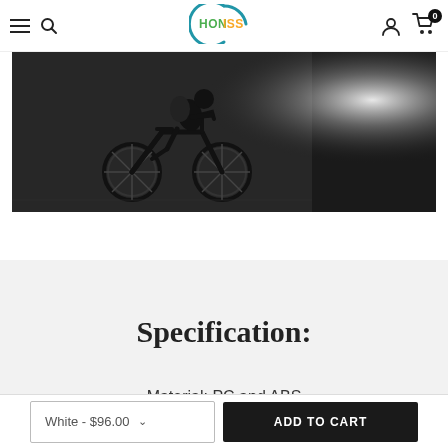HONISS navigation bar with hamburger menu, search icon, logo, user icon, cart icon (0)
[Figure (photo): Black and white silhouette of a cyclist riding a bicycle against a textured wall background with a glowing light effect on the right side]
Specification:
Material: PC and ABS
White - $96.00  ADD TO CART